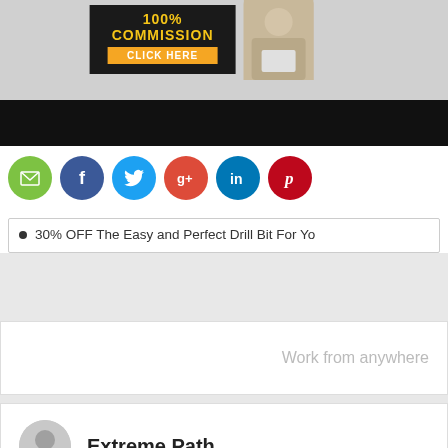[Figure (screenshot): Banner advertisement showing '100% COMMISSION CLICK HERE' text with a person holding a laptop]
[Figure (infographic): Social media share icons: email (green), Facebook (blue), Twitter (light blue), Google+ (red), LinkedIn (blue), Pinterest (red)]
30% OFF The Easy and Perfect Drill Bit For Yo
Work from anywhere
Extreme Path